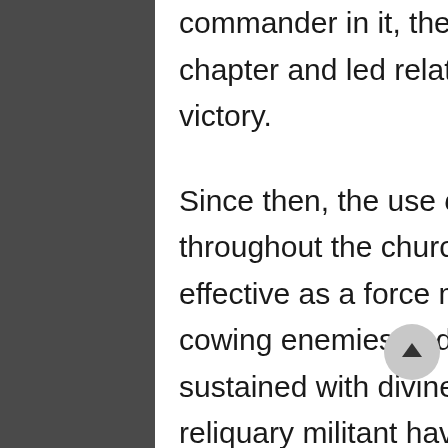commander in it, the robot rose to defend the chapter and led relatively inexperienced troops to victory.
Since then, the use of reliquary militants has spread throughout the church. They have proven particularly effective as a force multiplier for green recruits, cowing enemies and keeping their own troops sustained with divine healing. Units backed by a reliquary militant have managed to fight off vastly larger enemy forces.
While the robots themselves don't have much personality they occasionally catch a glimmer of insight from their